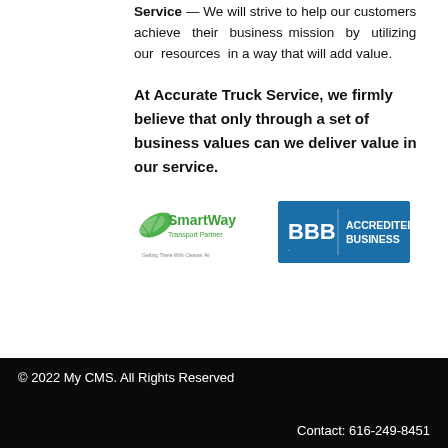Service — We will strive to help our customers achieve their business mission by utilizing our resources in a way that will add value.
At Accurate Truck Service, we firmly believe that only through a set of business values can we deliver value in our service.
[Figure (logo): SmartWay Transport Partner logo with leaf icon and tagline 'Getting There With Cleaner Air']
[Figure (logo): BBB Accredited Business logo with blue background]
© 2022 My CMS. All Rights Reserved
Contact: 616-249-8451